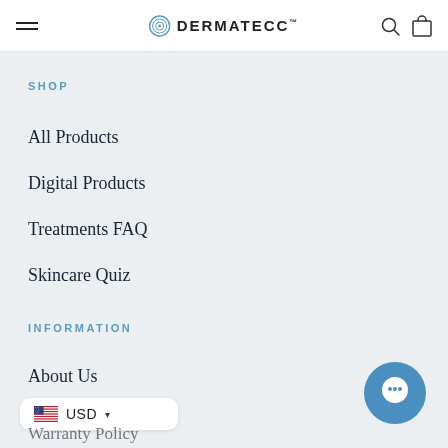DERMATECC™
SHOP
All Products
Digital Products
Treatments FAQ
Skincare Quiz
INFORMATION
About Us
Track Order
USD
Warranty Policy